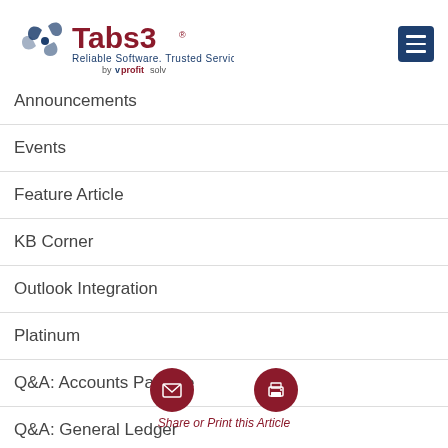Tabs3 — Reliable Software. Trusted Service. by ProfitSolv
Announcements
Events
Feature Article
KB Corner
Outlook Integration
Platinum
Q&A: Accounts Payable
Q&A: General Ledger
Share or Print this Article
Q&A: PracticeMaster